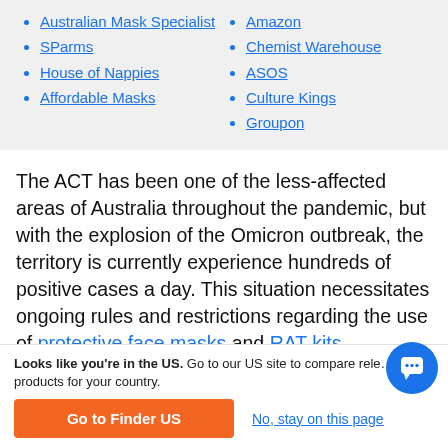Australian Mask Specialist
SParms
House of Nappies
Affordable Masks
Amazon
Chemist Warehouse
ASOS
Culture Kings
Groupon
The ACT has been one of the less-affected areas of Australia throughout the pandemic, but with the explosion of the Omicron outbreak, the territory is currently experience hundreds of positive cases a day. This situation necessitates ongoing rules and restrictions regarding the use of protective face masks and RAT kits.
Looks like you're in the US. Go to our US site to compare relevant products for your country.
Go to Finder US
No, stay on this page